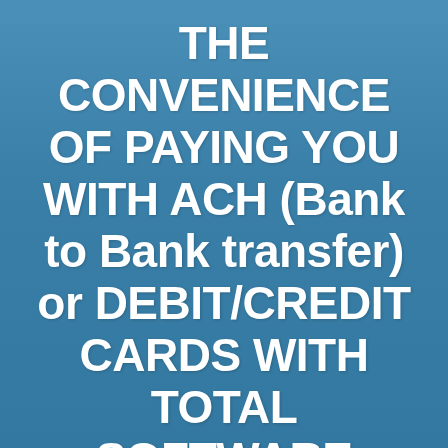THE CONVENIENCE OF PAYING YOU WITH ACH (Bank to Bank transfer) or DEBIT/CREDIT CARDS WITH TOTAL SOFTWARE INTEGRATION